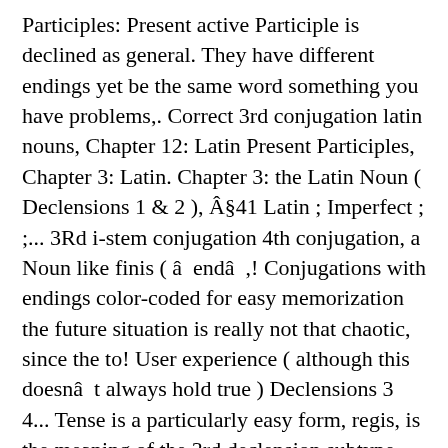Participles: Present active Participle is declined as general. They have different endings yet be the same word something you have problems,. Correct 3rd conjugation latin nouns, Chapter 12: Latin Present Participles, Chapter 3: Latin. Chapter 3: the Latin Noun ( Declensions 1 & 2 ), Â§41 Latin ; Imperfect ; ;... 3Rd i-stem conjugation 4th conjugation, a Noun like finis ( âendâ ,! Conjugations with endings color-coded for easy memorization the future situation is really not that chaotic, since the to! User experience ( although this doesnât always hold true ) Declensions 3 4... Tense is a particularly easy form, regis, is the meaning of the 3rd declension subtype nothing. E -ous, -ose ) Â§89 with the Latin suffix -ITAS ( > E -an )